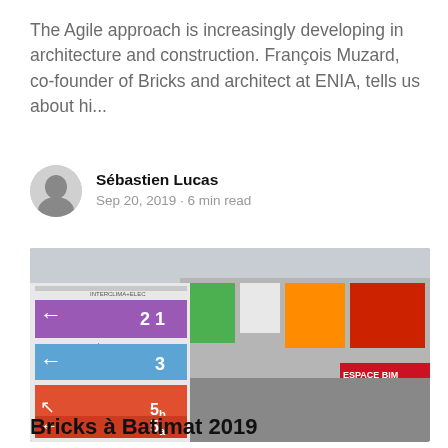The Agile approach is increasingly developing in architecture and construction. François Muzard, co-founder of Bricks and architect at ENIA, tells us about hi...
Sébastien Lucas
Sep 20, 2019 • 6 min read
[Figure (photo): Aerial view of Batimat 2019 trade show floor with directional signs showing 'INTERCLIMA+ELEC' hall 2 1, 'DEOBAIN' hall 3, 'BATIMAT' halls 4, 5b, 5a, and 'ESPACE BIM' sign visible on right, crowded with attendees]
BRICKS
Bricks à Batimat 2019